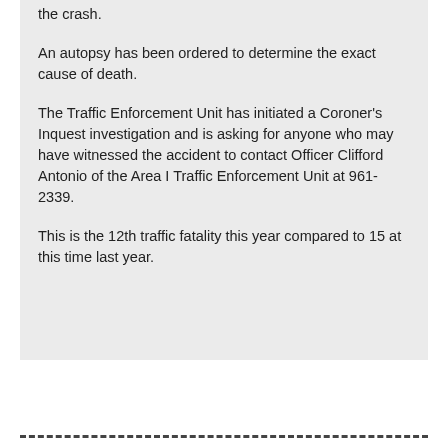the crash.
An autopsy has been ordered to determine the exact cause of death.
The Traffic Enforcement Unit has initiated a Coroner's Inquest investigation and is asking for anyone who may have witnessed the accident to contact Officer Clifford Antonio of the Area I Traffic Enforcement Unit at 961-2339.
This is the 12th traffic fatality this year compared to 15 at this time last year.